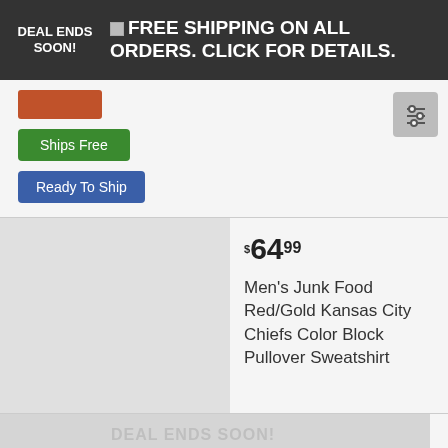DEAL ENDS SOON! FREE SHIPPING ON ALL ORDERS. CLICK FOR DETAILS.
Ships Free
Ready To Ship
$64.99
Men's Junk Food Red/Gold Kansas City Chiefs Color Block Pullover Sweatshirt
DEAL ENDS SOON!
Ships Free
Ready To Ship